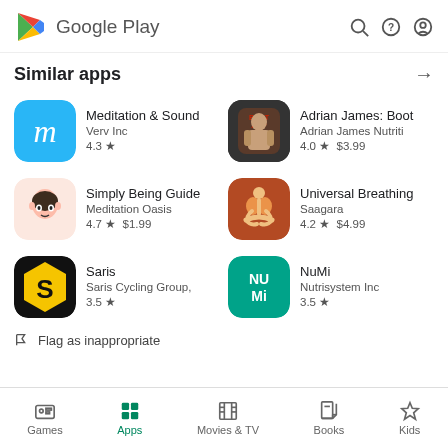[Figure (logo): Google Play logo with triangle icon and text]
Similar apps
[Figure (other): Meditation & Sound app icon - blue with cursive M]
Meditation & Sound
Verv Inc
4.3 ★
[Figure (other): Adrian James Boot Camp app icon - photo of muscular man]
Adrian James: Boot
Adrian James Nutriti
4.0 ★  $3.99
[Figure (other): Simply Being Guided app icon - illustrated face]
Simply Being Guided
Meditation Oasis
4.7 ★  $1.99
[Figure (other): Universal Breathing app icon - human figure meditating]
Universal Breathing
Saagara
4.2 ★  $4.99
[Figure (other): Saris app icon - black background with yellow S logo]
Saris
Saris Cycling Group,
3.5 ★
[Figure (other): NuMi app icon - teal background with NuMi text]
NuMi
Nutrisystem Inc
3.5 ★
Flag as inappropriate
Games  Apps  Movies & TV  Books  Kids